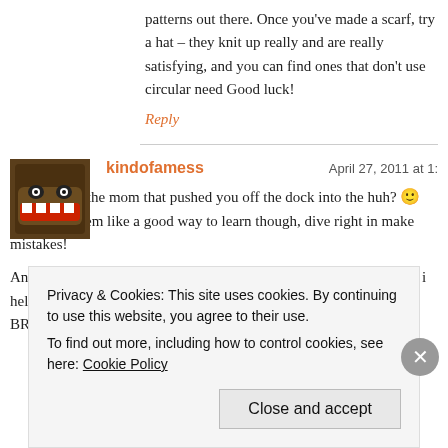patterns out there. Once you've made a scarf, try a hat – they knit up really and are really satisfying, and you can find ones that don't use circular need Good luck!
Reply
kindofamess
April 27, 2011 at 1:
She's totally the mom that pushed you off the dock into the huh? 🙂 That does seem like a good way to learn though, dive right in make mistakes!
And I'm definitely going to look into ravelry, a good support system i helpful. I used to look at Craftster a lot when I'm like, 'WHAT AM I BROKE IT, HALP!"
Privacy & Cookies: This site uses cookies. By continuing to use this website, you agree to their use.
To find out more, including how to control cookies, see here: Cookie Policy
Close and accept